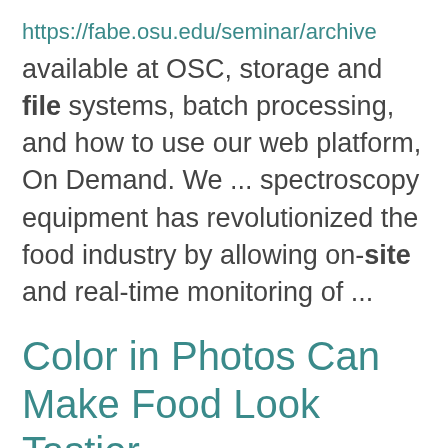https://fabe.osu.edu/seminar/archive
available at OSC, storage and file systems, batch processing, and how to use our web platform, On Demand. We ... spectroscopy equipment has revolutionized the food industry by allowing on-site and real-time monitoring of ...
Color in Photos Can Make Food Look Tastier
https://fcs.osu.edu/news/color-photos-can-make-food-look-tastier
An appealing photo of a pizza or other menu item can help a restaurant increase sales – especially